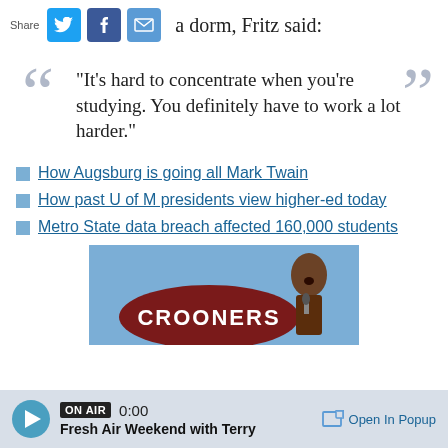Share  a dorm, Fritz said:
"It's hard to concentrate when you're studying. You definitely have to work a lot harder."
How Augsburg is going all Mark Twain
How past U of M presidents view higher-ed today
Metro State data breach affected 160,000 students
[Figure (photo): Image showing Crooners logo/sign with a person singing]
ON AIR  0:00  Fresh Air Weekend with Terry  Open In Popup